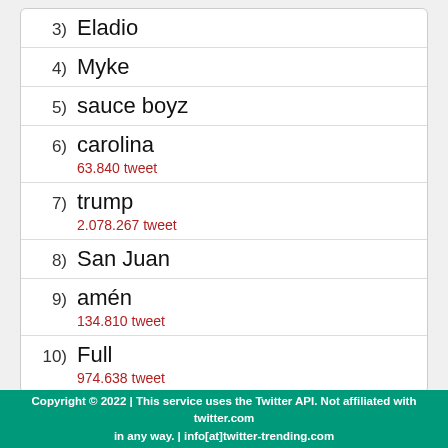3) Eladio
4) Myke
5) sauce boyz
6) carolina
63.840 tweet
7) trump
2.078.267 tweet
8) San Juan
9) amén
134.810 tweet
10) Full
974.638 tweet
Copyright © 2022 | This service uses the Twitter API. Not affiliated with twitter.com in any way. | info[at]twitter-trending.com